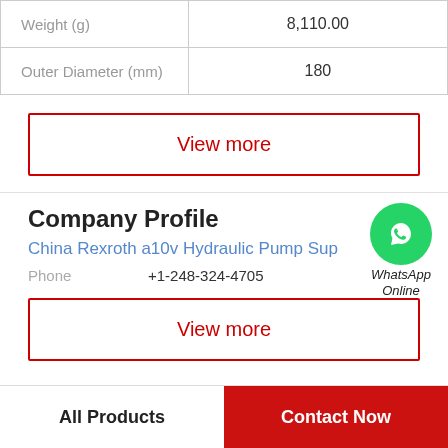| Property | Value |
| --- | --- |
| Weight (g) | 8,110.00 |
| Outer Diameter (mm) | 180 |
View more
Company Profile
China Rexroth a10v Hydraulic Pump Sup...
Phone +1-248-324-4705
[Figure (illustration): WhatsApp Online icon: green circle with phone handset icon, labeled WhatsApp Online]
View more
All Products
Contact Now